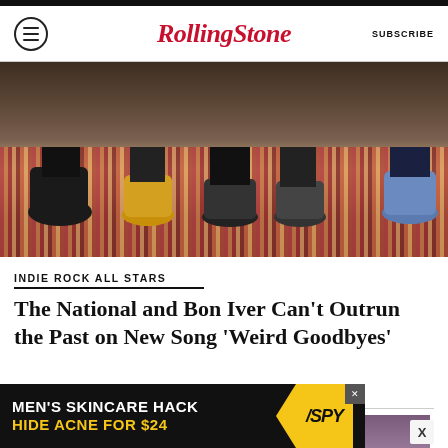Rolling Stone | SUBSCRIBE
[Figure (photo): Band members lying on a colorful patterned carpet floor, only feet and legs visible]
INDIE ROCK ALL STARS
The National and Bon Iver Can’t Outrun the Past on New Song ‘Weird Goodbyes’
BY JON BLISTEIN
[Figure (photo): Person with dark hair against a mauve/purple background]
[Figure (advertisement): MEN'S SKINCARE HACK - HIDE ACNE FOR $24 - SPY advertisement banner]